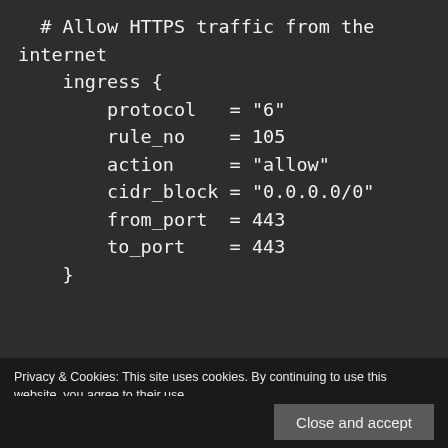# Allow HTTPS traffic from the internet
  ingress {
    protocol   = "6"
    rule_no    = 105
    action     = "allow"
    cidr_block = "0.0.0.0/0"
    from_port  = 443
    to_port    = 443
  }
Privacy & Cookies: This site uses cookies. By continuing to use this website, you agree to their use.
To find out more, including how to control cookies, see here: Cookie Policy
Close and accept